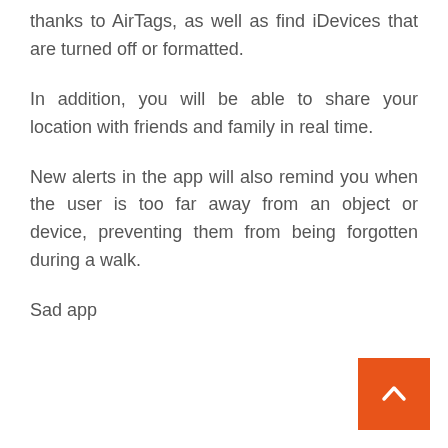thanks to AirTags, as well as find iDevices that are turned off or formatted.
In addition, you will be able to share your location with friends and family in real time.
New alerts in the app will also remind you when the user is too far away from an object or device, preventing them from being forgotten during a walk.
Sad app